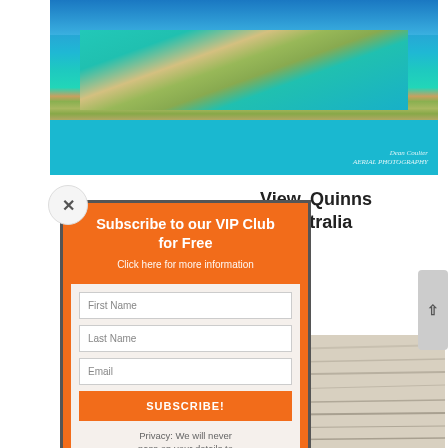[Figure (photo): Aerial panoramic photograph of a coastal peninsula with turquoise water, sandy beaches, and urban development extending along the coastline, with a watermark reading 'Dean Coulter' in the bottom right corner]
Subscribe to our VIP Club for Free
Click here for more information
First Name
Last Name
Email
SUBSCRIBE!
Privacy: We will never pass on your details to any third party
View, Quinns
n Australia
[Figure (photo): Close-up photograph of sandy beach or weathered wooden surface with horizontal texture lines]